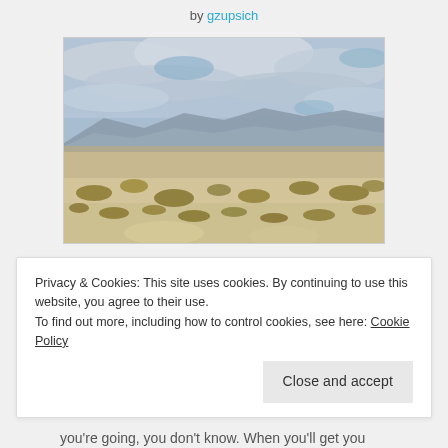by gzupsich
[Figure (photo): Desert landscape photo showing scrubby desert floor with dried bushes in oranges and browns, distant mountains and layered cloudy sky with patches of blue]
Glaring sun on miles of dusty oranges, browns and blues layered as far as the eye can see. Dry
Privacy & Cookies: This site uses cookies. By continuing to use this website, you agree to their use.
To find out more, including how to control cookies, see here: Cookie Policy
Close and accept
you're going, you don't know. When you'll get you